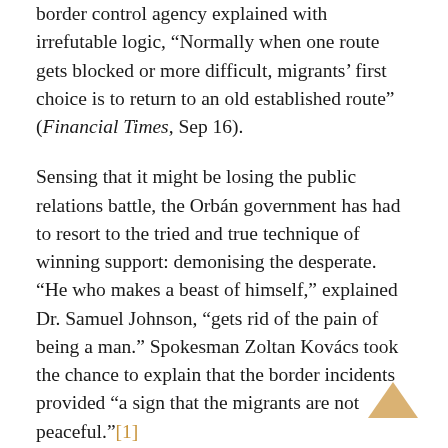border control agency explained with irrefutable logic, “Normally when one route gets blocked or more difficult, migrants’ first choice is to return to an old established route” (Financial Times, Sep 16).
Sensing that it might be losing the public relations battle, the Orbán government has had to resort to the tried and true technique of winning support: demonising the desperate. “He who makes a beast of himself,” explained Dr. Samuel Johnson, “gets rid of the pain of being a man.” Spokesman Zoltan Kovács took the chance to explain that the border incidents provided “a sign that the migrants are not peaceful.”[1]
The Hungarian precedent is certainly catching on, and what has been termed a “domino effect” of sealing borders has begun to take its ominous shape [2] Austria is constricting its own routes with